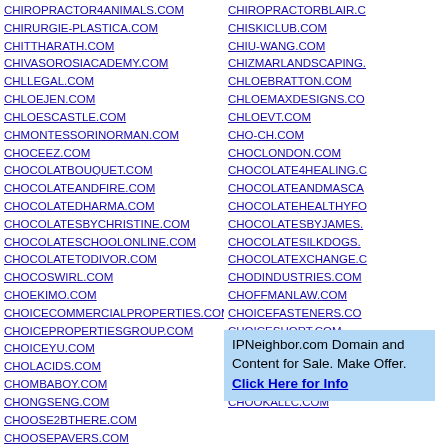CHIROPRACTOR4ANIMALS.COM
CHIRURGIE-PLASTICA.COM
CHITTHARATH.COM
CHIVASOROSIACADEMY.COM
CHLLEGAL.COM
CHLOEJEN.COM
CHLOESCASTLE.COM
CHMONTESSORINORMAN.COM
CHOCEEZ.COM
CHOCOLATBOUQUET.COM
CHOCOLATEANDFIRE.COM
CHOCOLATEDHARMA.COM
CHOCOLATESBYCHRISTINE.COM
CHOCOLATESCHOOLONLINE.COM
CHOCOLATETODIVOR.COM
CHOCOSWIRL.COM
CHOEKIMO.COM
CHOICECOMMERCIALPROPERTIES.COM
CHOICEPROPERTIESGROUP.COM
CHOICEYU.COM
CHOLACIDS.COM
CHOMBABOY.COM
CHONGSENG.COM
CHOOSE2BTHERE.COM
CHOOSEPAVERS.COM
CHOPD-UP.COM
CHOPPERBIKESALES.COM
CHOPSTICKSANDFORK.COM
CHIROPRACTORBLAIR.C...
CHISKICLUB.COM
CHIU-WANG.COM
CHIZMARLANDSCAPING...
CHLOEBRATTON.COM
CHLOEMAXDESIGNS.CO...
CHLOEVT.COM
CHO-CH.COM
CHOCLONDON.COM
CHOCOLATE4HEALING.C...
CHOCOLATEANDMASCA...
CHOCOLATEHEALTHYFO...
CHOCOLATESBYJAMES....
CHOCOLATESILKDOGS....
CHOCOLATEXCHANGE.C...
CHODINDUSTRIES.COM...
CHOFFMANLAW.COM
CHOICEFASTENERS.CO...
CHOICESHORT.COM
CHOJLAW.COM
CHOLORIDERCUSTOMS...
CHOMEMAINT.COM
CHOOKALLC.COM
IPNeighbor.com Domain and Content for Sale. Make Offer. Click Here for Info